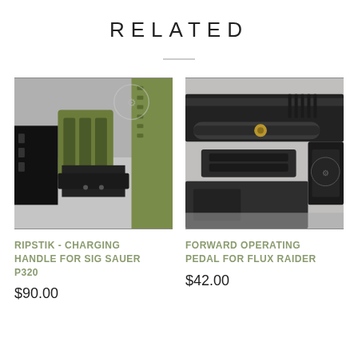RELATED
[Figure (photo): Close-up photo of a green/OD RipStik charging handle accessory mounted on a Sig Sauer P320 pistol slide, set against a gray background with a logo visible.]
RIPSTIK - CHARGING HANDLE FOR SIG SAUER P320
$90.00
[Figure (photo): Close-up photo of a forward operating pedal accessory for the Flux Raider, showing dark metal firearm parts against a gray surface.]
FORWARD OPERATING PEDAL FOR FLUX RAIDER
$42.00